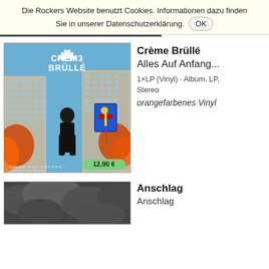Die Rockers Website benutzt Cookies. Informationen dazu finden Sie in unserer Datenschutzerklärung. OK
[Figure (photo): Album cover for Crème Brüllé - Alles Auf Anfang... showing a child standing in front of brutalist apartment buildings with autumn foliage, price badge showing 12,90 €]
Crème Brüllé
Alles Auf Anfang...
1×LP (Vinyl) · Album, LP, Stereo
orangefarbenes Vinyl
[Figure (photo): Partial album cover for Anschlag showing dark cloudy sky in black and white]
Anschlag
Anschlag